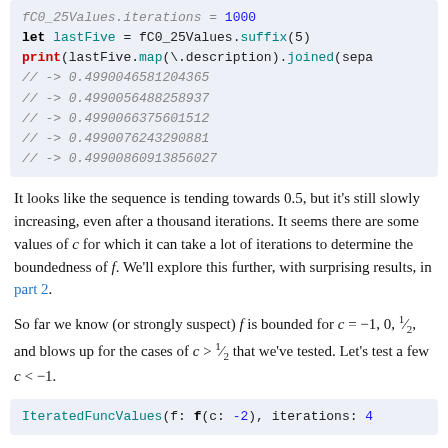[Figure (screenshot): Code block showing Swift/Kotlin-like code: fC0_25Values.iterations = 1000, let lastFive = fC0_25Values.suffix(5), print(lastFive.map(\.description).joined(sepa, followed by comment lines with numeric output values]
It looks like the sequence is tending towards 0.5, but it's still slowly increasing, even after a thousand iterations. It seems there are some values of c for which it can take a lot of iterations to determine the boundedness of f. We'll explore this further, with surprising results, in part 2.
So far we know (or strongly suspect) f is bounded for c = −1, 0, 1/2, and blows up for the cases of c > 1/2 that we've tested. Let's test a few c < −1.
[Figure (screenshot): Code block showing: IteratedFuncValues(f: f(c: -2), iterations: 4]